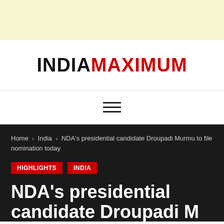[Figure (other): Yellow advertisement banner at top of page]
[Figure (logo): IndiaMaximum logo — INDIA in black bold, MAXIMUM in red bold]
≡ (hamburger menu icon)
Home › India › NDA's presidential candidate Droupadi Murmu to file nomination today
HIGHLIGHTS   INDIA
NDA's presidential candidate Droupadi M…